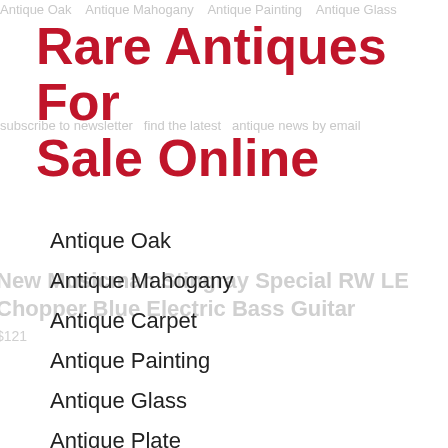Rare Antiques For Sale Online
Antique Oak
Antique Mahogany
Antique Carpet
Antique Painting
Antique Glass
Antique Plate
Side Of Decal Facing Up). Perfect Cover That Is Useful,helpful And So Practical. Easy To Use And To Operate At Affordable Prices.